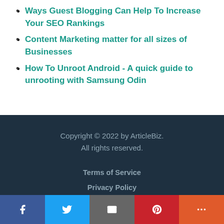Ways Guest Blogging Can Help To Increase Your SEO Rankings
Content Marketing matter for all sizes of Businesses
How To Unroot Android - A quick guide to unrooting with Samsung Odin
Copyright © 2022 by ArticleBiz. All rights reserved.
Terms of Service
Privacy Policy
Admin